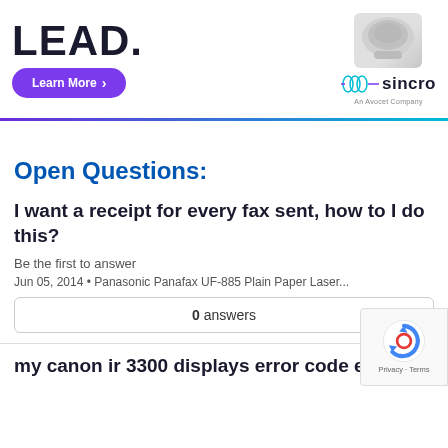[Figure (illustration): Advertisement banner with bold 'LEAD.' text, a purple 'Learn More' button with arrow, a product image on the right, and the Sincro logo (with wave icon and tagline 'An Avocet Company'). A gradient line (purple to teal) runs below the ad.]
Open Questions:
I want a receipt for every fax sent, how to I do this?
Be the first to answer
Jun 05, 2014 • Panasonic Panafax UF-885 Plain Paper Laser...
0 answers
my canon ir 3300 displays error code e6...